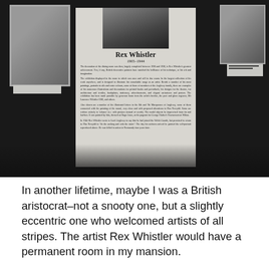[Figure (photo): Photograph of a museum exhibition display showing a panel about Rex Whistler 1905-1944, with a self-portrait photo at the top of the panel, surrounded by dark gallery walls and other framed works on either side.]
In another lifetime, maybe I was a British aristocrat–not a snooty one, but a slightly eccentric one who welcomed artists of all stripes. The artist Rex Whistler would have a permanent room in my mansion.